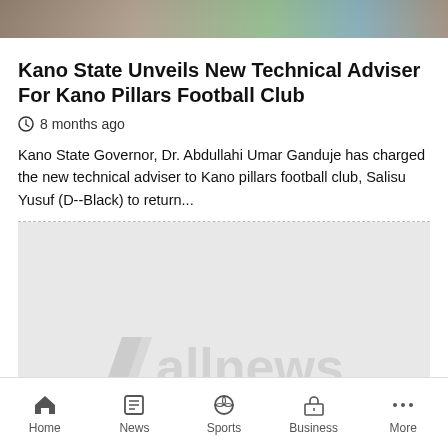[Figure (photo): Partial photo at top of page showing people standing, cropped]
Kano State Unveils New Technical Adviser For Kano Pillars Football Club
8 months ago
Kano State Governor, Dr. Abdullahi Umar Ganduje has charged the new technical adviser to Kano pillars football club, Salisu Yusuf (D--Black) to return...
[Figure (logo): allnews logo watermark on grey advertisement placeholder block]
Home  News  Sports  Business  More